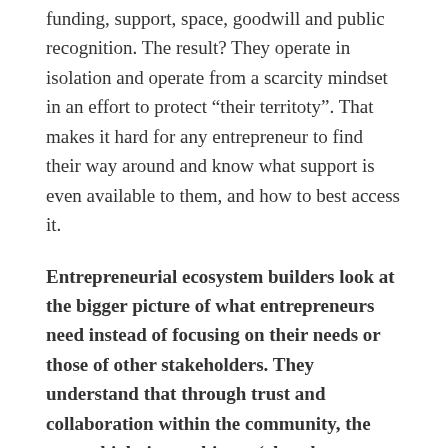funding, support, space, goodwill and public recognition. The result? They operate in isolation and operate from a scarcity mindset in an effort to protect “their territoty”. That makes it hard for any entrepreneur to find their way around and know what support is even available to them, and how to best access it.
Entrepreneurial ecosystem builders look at the bigger picture of what entrepreneurs need instead of focusing on their needs or those of other stakeholders. They understand that through trust and collaboration within the community, the proverbial pie gets bigger (abundance mindset) which lessens the need for competition and silos.
Ecosystem builders also embrace the notion that